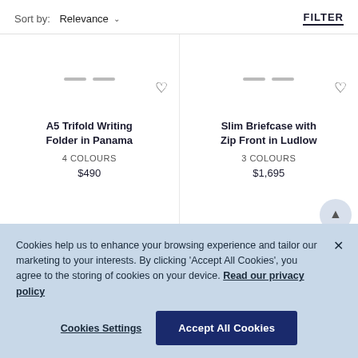Sort by: Relevance   FILTER
A5 Trifold Writing Folder in Panama
4 COLOURS
$490
Slim Briefcase with Zip Front in Ludlow
3 COLOURS
$1,695
[Figure (screenshot): Partial handle of a bag/briefcase product image]
Cookies help us to enhance your browsing experience and tailor our marketing to your interests. By clicking 'Accept All Cookies', you agree to the storing of cookies on your device. Read our privacy policy
Cookies Settings    Accept All Cookies